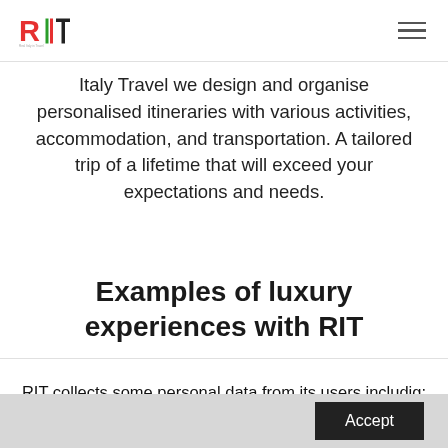RIT logo and navigation
Italy Travel we design and organise personalised itineraries with various activities, accommodation, and transportation. A tailored trip of a lifetime that will exceed your expectations and needs.
Examples of luxury experiences with RIT
RIT collects some personal data from its users includig: name, email address and telephone number. The Personal Data are freely provided by the User. Failure to provide these Personal Data may make it impossible for RIT to provide its services. RIT is not selling neither sharing the personal data with third parties.